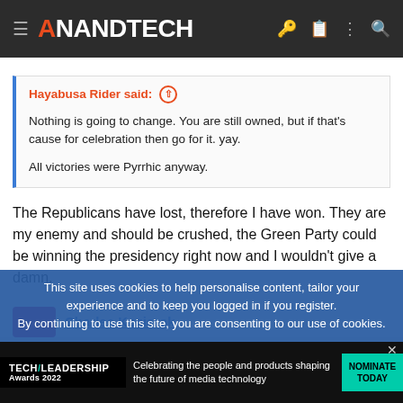AnandTech
Hayabusa Rider said: ↑

Nothing is going to change. You are still owned, but if that's cause for celebration then go for it. yay.

All victories were Pyrrhic anyway.
The Republicans have lost, therefore I have won. They are my enemy and should be crushed, the Green Party could be winning the presidency right now and I wouldn't give a damn.
Charles Kozierok
This site uses cookies to help personalise content, tailor your experience and to keep you logged in if you register.
By continuing to use this site, you are consenting to our use of cookies.
[Figure (screenshot): Tech Leadership Awards 2022 advertisement banner: Celebrating the people and products shaping the future of media technology. NOMINATE TODAY.]